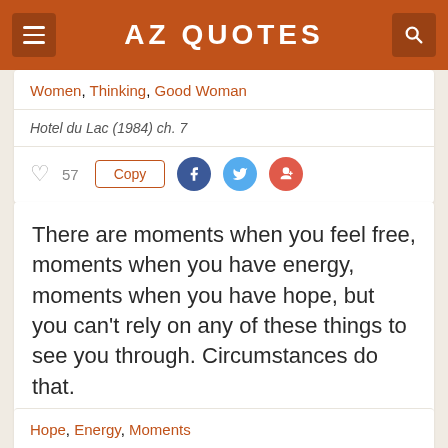AZ QUOTES
Women, Thinking, Good Woman
Hotel du Lac (1984) ch. 7
57  Copy
There are moments when you feel free, moments when you have energy, moments when you have hope, but you can't rely on any of these things to see you through. Circumstances do that.
Anita Brookner
Hope, Energy, Moments